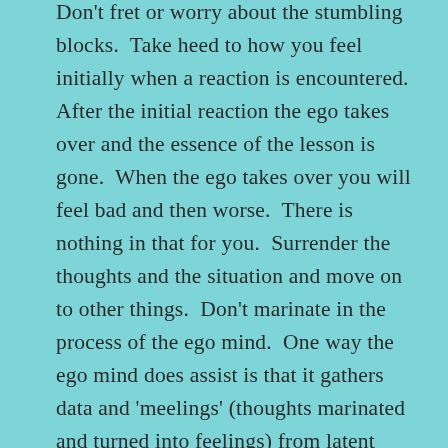Don't fret or worry about the stumbling blocks. Take heed to how you feel initially when a reaction is encountered. After the initial reaction the ego takes over and the essence of the lesson is gone. When the ego takes over you will feel bad and then worse. There is nothing in that for you. Surrender the thoughts and the situation and move on to other things. Don't marinate in the process of the ego mind. One way the ego mind does assist is that it gathers data and 'meelings' (thoughts marinated and turned into feelings) from latent parts of your being and gathers them all up. It does this to create mountains from molehills. When this happens you can surrender into it and look at the highest expression of the situations and birth them into the ether for healing and release.

There is a tendency to put situations away for later recall. This is simply something the ego does to use later. It can also be used for reinforcing another issue if need be. Little